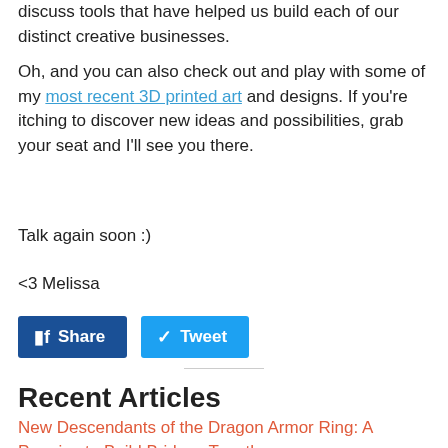discuss tools that have helped us build each of our distinct creative businesses.
Oh, and you can also check out and play with some of my most recent 3D printed art and designs. If you're itching to discover new ideas and possibilities, grab your seat and I'll see you there.
Talk again soon :)
<3 Melissa
[Figure (other): Share and Tweet social media buttons]
Recent Articles
New Descendants of the Dragon Armor Ring: A Promise to Build Bridges Together
Posted on 22 Nov 16:53
New Reflection Phoenix Face Mask: Something...